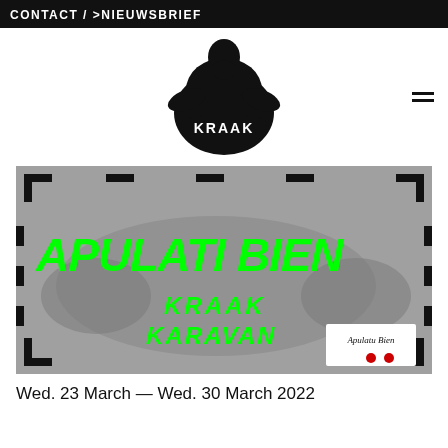CONTACT / >NIEUWSBRIEF
[Figure (logo): KRAAK logo: black ink illustration of a bearded figure with arms spread, text KRAAK in white on black blob shape]
[Figure (photo): Event poster for Apulati Bien – Kraak Karavan. Large neon green text 'APULATI BIEN' and 'KRAAK KARAVAN' on a grey textured background with black bracket/frame elements. A small white inset image shows 'Apulati Bien' handwritten text.]
Wed. 23 March — Wed. 30 March 2022